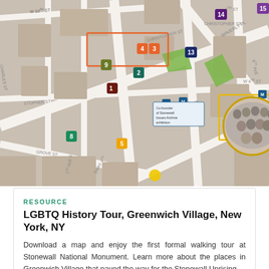[Figure (map): Street map of Greenwich Village, New York showing numbered tour stops (1-15) for the LGBTQ History Tour at Stonewall National Monument. Features colored numbered markers, street labels including Christopher St, Waverly Pl, Washington Pl, Grove St, and a circular inset photo of a group of people.]
RESOURCE
LGBTQ History Tour, Greenwich Village, New York, NY
Download a map and enjoy the first formal walking tour at Stonewall National Monument. Learn more about the places in Greenwich Village that paved the way for the Stonewall Uprising...
See more ›
Rivera was 17 years old during the Stonewall Uprising. She is sometimes credited with throwing the first Molotov cocktail at police, inspiring others to do the same. She debunked this myth in a 2001 speech, saying she threw not the first,